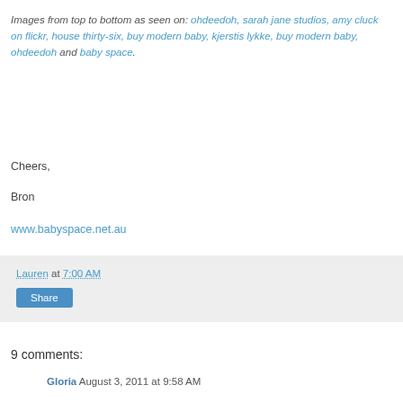Images from top to bottom as seen on: ohdeedoh, sarah jane studios, amy cluck on flickr, house thirty-six, buy modern baby, kjerstis lykke, buy modern baby, ohdeedoh and baby space.
Cheers,
Bron
www.babyspace.net.au
Lauren at 7:00 AM
Share
9 comments:
Gloria August 3, 2011 at 9:58 AM